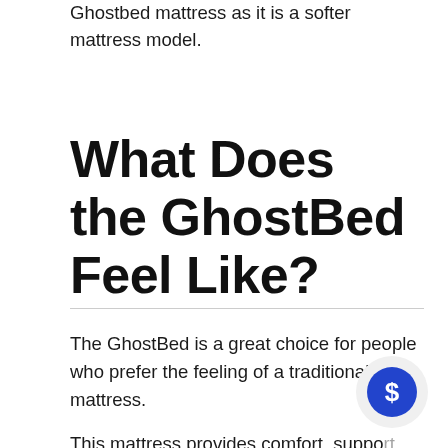Ghostbed mattress as it is a softer mattress model.
What Does the GhostBed Feel Like?
The GhostBed is a great choice for people who prefer the feeling of a traditional mattress.
This mattress provides comfort, support and durability for those who shift positions during the night.